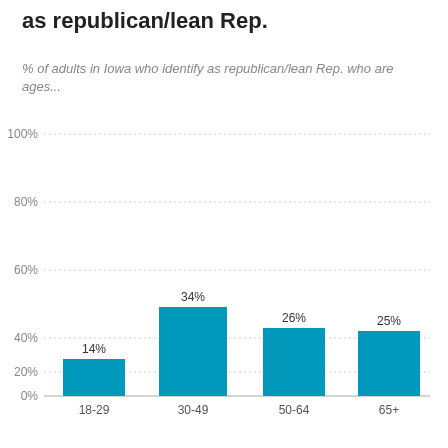as republican/lean Rep.
% of adults in Iowa who identify as republican/lean Rep. who are ages...
[Figure (bar-chart): % of adults in Iowa who identify as republican/lean Rep. who are ages...]